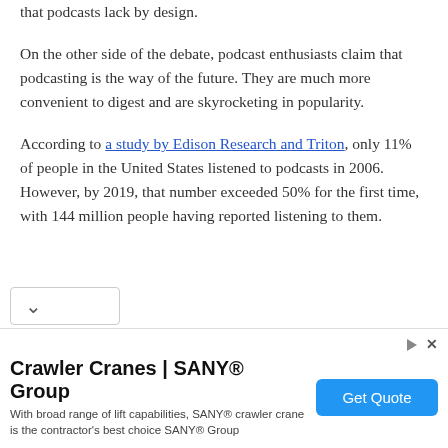that podcasts lack by design.
On the other side of the debate, podcast enthusiasts claim that podcasting is the way of the future. They are much more convenient to digest and are skyrocketing in popularity.
According to a study by Edison Research and Triton, only 11% of people in the United States listened to podcasts in 2006. However, by 2019, that number exceeded 50% for the first time, with 144 million people having reported listening to them.
[Figure (other): Advertisement banner for Crawler Cranes by SANY Group with a Get Quote button.]